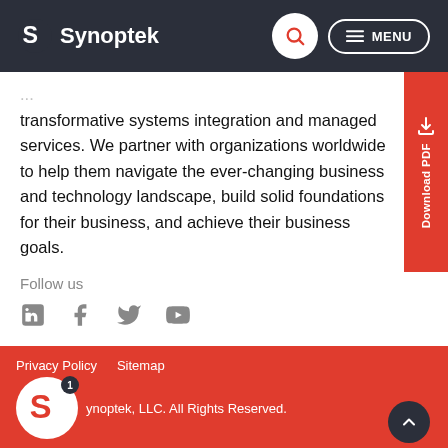Synoptek — navigation bar with logo, search, and menu
transformative systems integration and managed services. We partner with organizations worldwide to help them navigate the ever-changing business and technology landscape, build solid foundations for their business, and achieve their business goals.
Follow us
[Figure (logo): Social media icons: LinkedIn, Facebook, Twitter, YouTube]
[Figure (other): Download PDF sidebar button]
Contact us
Privacy Policy   Sitemap   © Synoptek, LLC. All Rights Reserved.